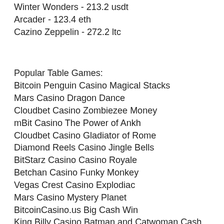Winter Wonders - 213.2 usdt
Arcader - 123.4 eth
Cazino Zeppelin - 272.2 ltc
Popular Table Games:
Bitcoin Penguin Casino Magical Stacks
Mars Casino Dragon Dance
Cloudbet Casino Zombiezee Money
mBit Casino The Power of Ankh
Cloudbet Casino Gladiator of Rome
Diamond Reels Casino Jingle Bells
BitStarz Casino Casino Royale
Betchan Casino Funky Monkey
Vegas Crest Casino Explodiac
Mars Casino Mystery Planet
BitcoinCasino.us Big Cash Win
King Billy Casino Batman and Catwoman Cash
Diamond Reels Casino Under the Bed
1xSlots Casino Secret of the Stones
Cloudbet Casino Fortune Cat